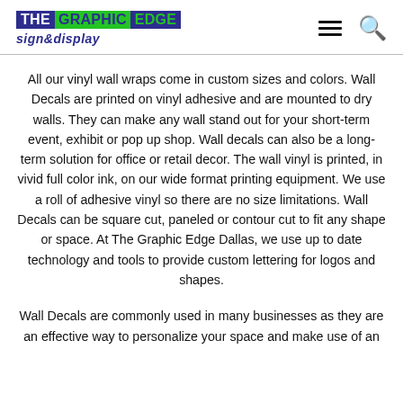[Figure (logo): The Graphic Edge sign & display logo with colored blocks and italic subtitle]
All our vinyl wall wraps come in custom sizes and colors. Wall Decals are printed on vinyl adhesive and are mounted to dry walls. They can make any wall stand out for your short-term event, exhibit or pop up shop. Wall decals can also be a long-term solution for office or retail decor. The wall vinyl is printed, in vivid full color ink, on our wide format printing equipment. We use a roll of adhesive vinyl so there are no size limitations. Wall Decals can be square cut, paneled or contour cut to fit any shape or space. At The Graphic Edge Dallas, we use up to date technology and tools to provide custom lettering for logos and shapes.
Wall Decals are commonly used in many businesses as they are an effective way to personalize your space and make use of an